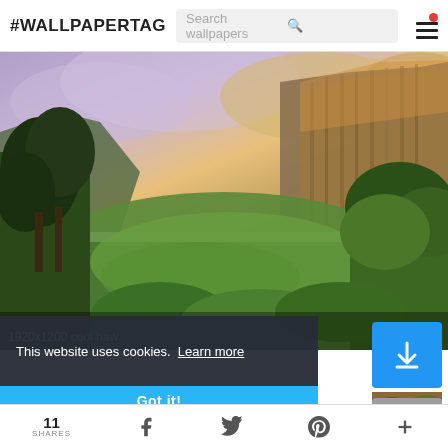#WALLPAPERTAG
[Figure (photo): Scenic Hawaiian valley with dramatic cliffs, lush green tropical vegetation in foreground, colorful sky with purple and orange clouds at sunset or sunrise. Text overlay: '1920x1200 cool haw']
This website uses cookies. Learn more
Got it!